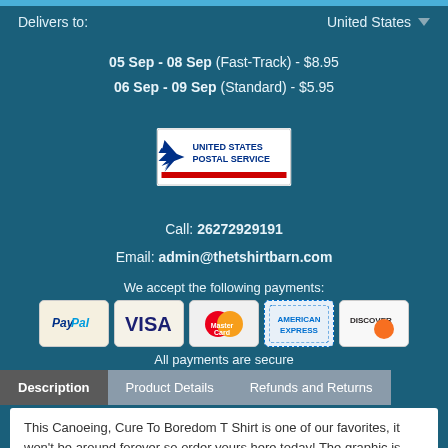Delivers to:   United States ▼
05 Sep - 08 Sep (Fast-Track) - $8.95
06 Sep - 09 Sep (Standard) - $5.95
[Figure (logo): United States Postal Service (USPS) logo]
Call: 26272929191
Email: admin@thetshirtbarn.com
We accept the following payments:
[Figure (logo): Payment method logos: PayPal, Visa, MasterCard, American Express, Discover]
All payments are secure
Description | Product Details | Refunds and Returns
This Canoeing, Cure To Boredom T Shirt is one of our favorites, it won't be around forever so order yours here today! The graphic is available on a variety of top quality products you are guaranteed to love. It would make a